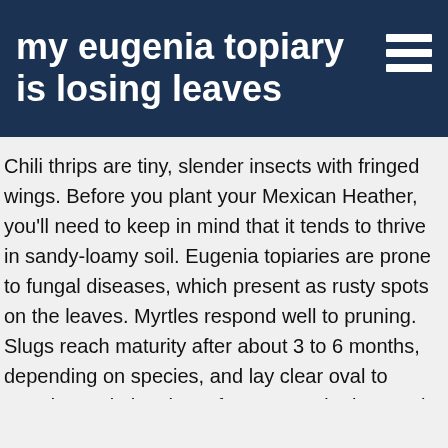my eugenia topiary is losing leaves
Chili thrips are tiny, slender insects with fringed wings. Before you plant your Mexican Heather, you'll need to keep in mind that it tends to thrive in sandy-loamy soil. Eugenia topiaries are prone to fungal diseases, which present as rusty spots on the leaves. Myrtles respond well to pruning. Slugs reach maturity after about 3 to 6 months, depending on species, and lay clear oval to round eggs in batches of 3 to 40 under leaves, in soil cracks, and in other protected areas. Make sure that you carefully remove all of the affected leaves to stop the spread of the infection. Share it with your friends! When plants are heavily infested with scales, leaves may look wilted, turn yellow, and drop prematurely. I thought the topiary would look great in my large urn out front giving me a